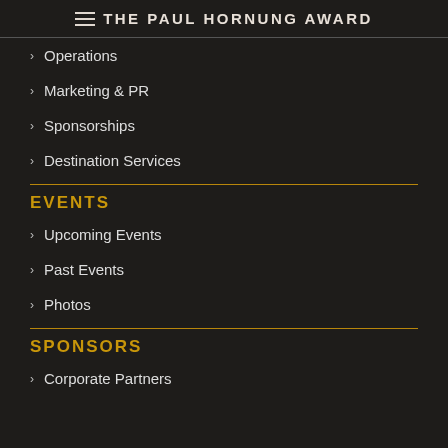THE PAUL HORNUNG AWARD
Operations
Marketing & PR
Sponsorships
Destination Services
EVENTS
Upcoming Events
Past Events
Photos
SPONSORS
Corporate Partners